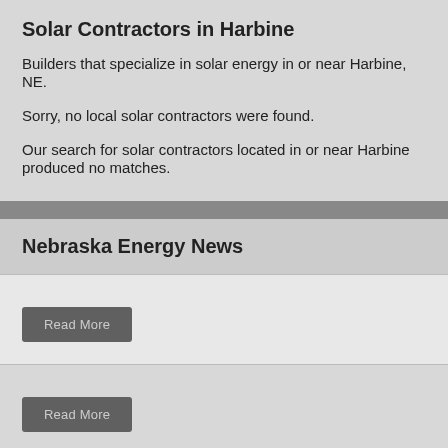Solar Contractors in Harbine
Builders that specialize in solar energy in or near Harbine, NE.
Sorry, no local solar contractors were found.
Our search for solar contractors located in or near Harbine produced no matches.
Nebraska Energy News
Read More
Read More